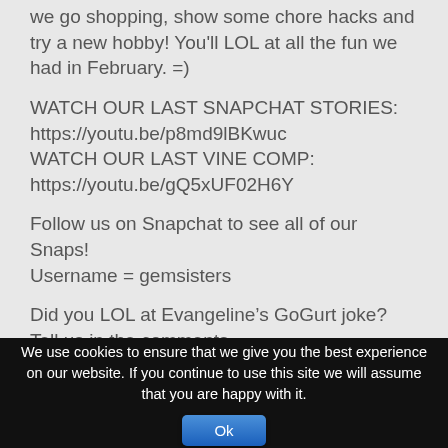we go shopping, show some chore hacks and try a new hobby! You'll LOL at all the fun we had in February. =)
WATCH OUR LAST SNAPCHAT STORIES: https://youtu.be/p8md9lBKwuc
WATCH OUR LAST VINE COMP: https://youtu.be/gQ5xUF02H6Y
Follow us on Snapchat to see all of our Snaps!
Username = gemsisters
Did you LOL at Evangeline’s GoGurt joke? Tell us in the comments.
We use cookies to ensure that we give you the best experience on our website. If you continue to use this site we will assume that you are happy with it.
Ok